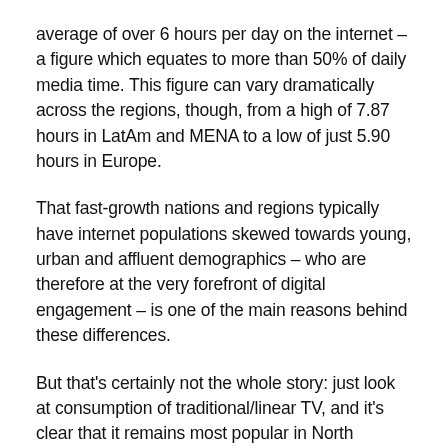average of over 6 hours per day on the internet – a figure which equates to more than 50% of daily media time. This figure can vary dramatically across the regions, though, from a high of 7.87 hours in LatAm and MENA to a low of just 5.90 hours in Europe.
That fast-growth nations and regions typically have internet populations skewed towards young, urban and affluent demographics – who are therefore at the very forefront of digital engagement – is one of the main reasons behind these differences.
But that's certainly not the whole story: just look at consumption of traditional/linear TV, and it's clear that it remains most popular in North America and Europe. In fact, North Americans are currently watching about 1.75x as much linear TV each day as their counterparts in APAC.